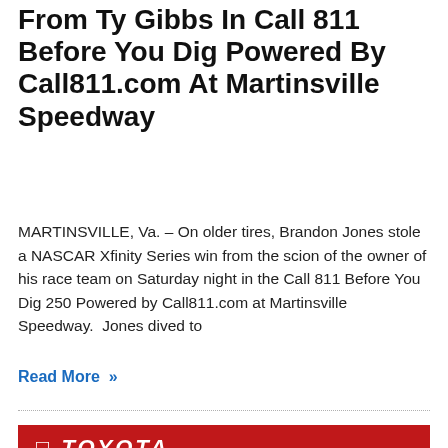From Ty Gibbs In Call 811 Before You Dig Powered By Call811.com At Martinsville Speedway
MARTINSVILLE, Va. – On older tires, Brandon Jones stole a NASCAR Xfinity Series win from the scion of the owner of his race team on Saturday night in the Call 811 Before You Dig 250 Powered by Call811.com at Martinsville Speedway. Jones dived to
Read More »
[Figure (photo): Two NASCAR race cars on the Martinsville Speedway track with smoke visible, a Toyota banner in the background. Car #2 (Discount Tire livery) is prominent on the left, another car on the right.]